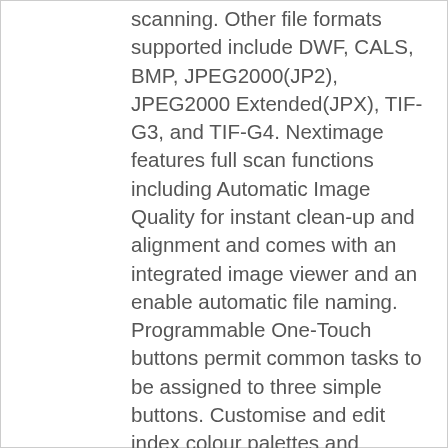scanning. Other file formats supported include DWF, CALS, BMP, JPEG2000(JP2), JPEG2000 Extended(JPX), TIF-G3, and TIF-G4. Nextimage features full scan functions including Automatic Image Quality for instant clean-up and alignment and comes with an integrated image viewer and an enable automatic file naming. Programmable One-Touch buttons permit common tasks to be assigned to three simple buttons. Customise and edit index colour palettes and accounting features are also included. Even full image adjustment controls are included. The software is available in multiple languages, including English, Chinese, Dutch, French, German, Italian, Japanese, Korean, Spanish, Russian and Polish. Nextimage Twain is also included, which is a 64-bit TWAIN application driver for use with EDM and other imaging